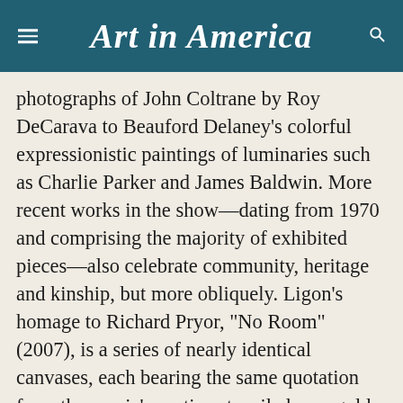Art in America
photographs of John Coltrane by Roy DeCarava to Beauford Delaney’s colorful expressionistic paintings of luminaries such as Charlie Parker and James Baldwin. More recent works in the show—dating from 1970 and comprising the majority of exhibited pieces—also celebrate community, heritage and kinship, but more obliquely. Ligon’s homage to Richard Pryor, “No Room” (2007), is a series of nearly identical canvases, each bearing the same quotation from the comic’s routine stenciled on a gold ground: “I was a nigger for twenty-three years./I gave that shit up. No room for/No room for advancement.” As Simpson points out, repetition is at the heart of the blues, and the textual rhythms of Ligon’s works arranged in a single row on the gallery wall echo the cadences of sermons heard in black churches.
The sensibility-oriented exhibition encourages unfamiliar